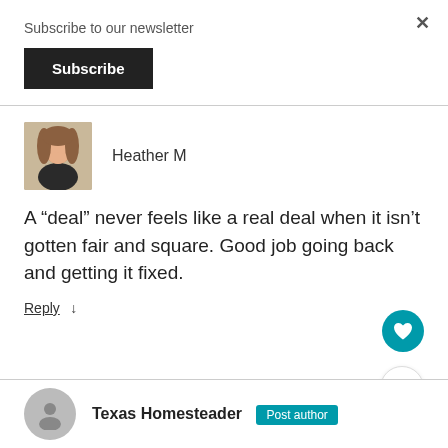Subscribe to our newsletter
Subscribe
Heather M
A “deal” never feels like a real deal when it isn’t gotten fair and square. Good job going back and getting it fixed.
Reply ↓
WHAT’S NEXT → Being Proud Of The...
Texas Homesteader Post author